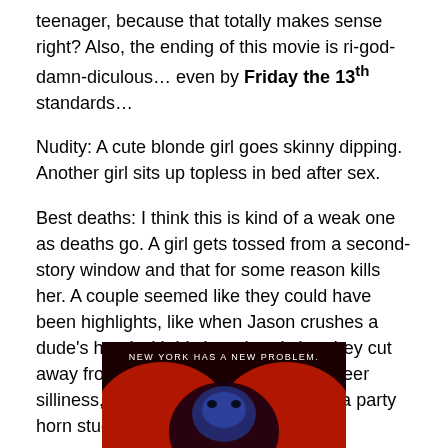teenager, because that totally makes sense right? Also, the ending of this movie is ri-god-damn-diculous… even by Friday the 13th standards…
Nudity: A cute blonde girl goes skinny dipping. Another girl sits up topless in bed after sex.
Best deaths: I think this is kind of a weak one as deaths go. A girl gets tossed from a second-story window and that for some reason kills her. A couple seemed like they could have been highlights, like when Jason crushes a dude's head with his bare hands but they cut away from the really gory parts. For sheer silliness, I might pick the girl who gets a party horn stuck into her eye.
[Figure (photo): Movie poster for Friday the 13th Part VIII: Jason Takes Manhattan, showing text 'NEW YORK HAS A NEW PROBLEM.' with a dark red and blue image of Jason's hockey mask face partially visible at the bottom.]